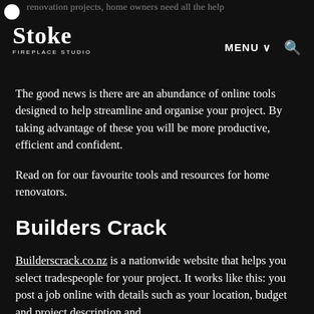renovation projects, home owners need all the help
Stoke FIREPLACE STUDIO | MENU ∨ 🔍
The good news is there are an abundance of online tools designed to help streamline and organise your project. By taking advantage of these you will be more productive, efficient and confident.
Read on for our favourite tools and resources for home renovators.
Builders Crack
Builderscrack.co.nz is a nationwide website that helps you select tradespeople for your project. It works like this: you post a job online with details such as your location, budget and project description and